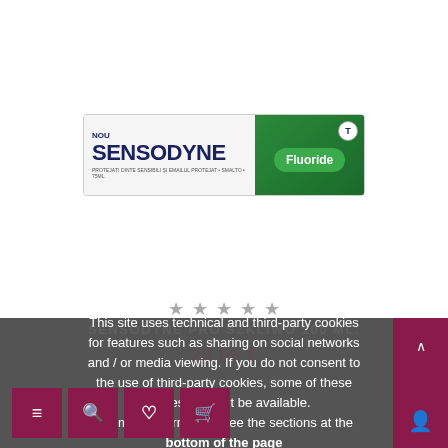[Figure (photo): Sensodyne Fluoride toothpaste product box, white and green packaging with SENSODYNE branding in dark blue, Fluoride label in green on right side, NOU label top left, T badge top right of green section]
★ ★ ★ ★ ★
SENSODYNE PRO SZKLIWO 100 ML.
29,05 €
This site uses technical and third-party cookies for features such as sharing on social networks and / or media viewing. If you do not consent to the use of third-party cookies, some of these features may not be available.
For more information, see the sections at the bottom of the page